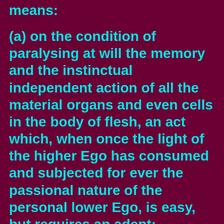means:
(a) on the condition of paralysing at will the memory and the instinctual independent action of all the material organs and even cells in the body of flesh, an act which, when once the light of the higher Ego has consumed and subjected for ever the passional nature of the personal lower Ego, is easy, but requires an adept;
(b) of being a reincarnation of one who, in a previous birth, had attained through extreme purity of life and